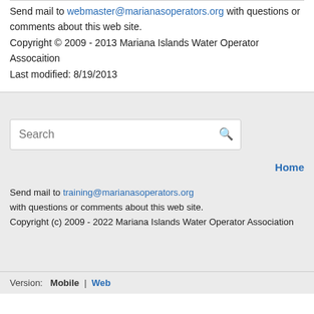Send mail to webmaster@marianasoperators.org with questions or comments about this web site.
Copyright © 2009 - 2013 Mariana Islands Water Operator Assocaition
Last modified: 8/19/2013
[Figure (screenshot): Search box with magnifying glass icon]
Home
Send mail to training@marianasoperators.org
with questions or comments about this web site.
Copyright (c) 2009 - 2022 Mariana Islands Water Operator Association
Version:  Mobile  |  Web